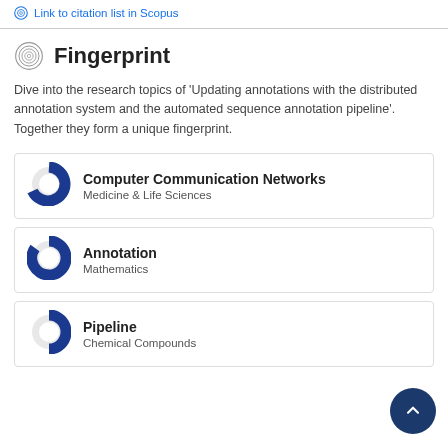Link to citation list in Scopus
Fingerprint
Dive into the research topics of 'Updating annotations with the distributed annotation system and the automated sequence annotation pipeline'. Together they form a unique fingerprint.
Computer Communication Networks
Medicine & Life Sciences
Annotation
Mathematics
Pipeline
Chemical Compounds